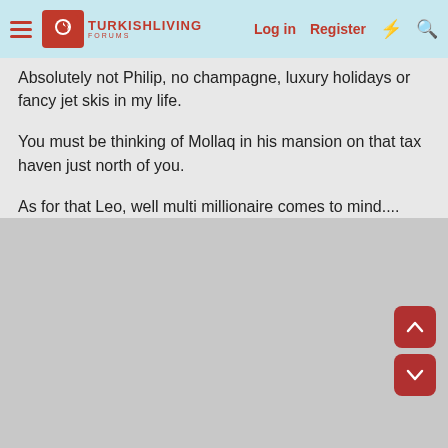TURKISHLIVING FORUMS — Log in | Register
Absolutely not Philip, no champagne, luxury holidays or fancy jet skis in my life.
You must be thinking of Mollaq in his mansion on that tax haven just north of you.
As for that Leo, well multi millionaire comes to mind....